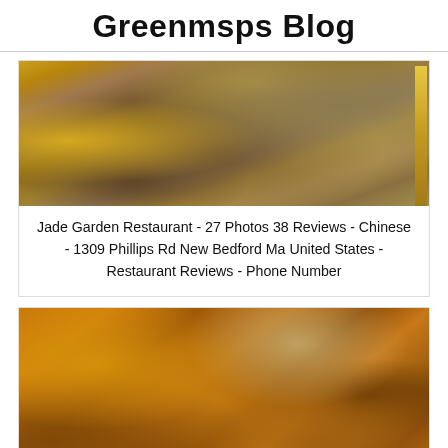Greenmsps Blog
[Figure (photo): Close-up photo of Chinese food including fried rice, egg rolls, and other items on a plate]
Jade Garden Restaurant - 27 Photos 38 Reviews - Chinese - 1309 Phillips Rd New Bedford Ma United States - Restaurant Reviews - Phone Number
[Figure (photo): Close-up photo of orange chicken or similar glazed Chinese chicken dish with a CLOSE X button overlay at the bottom]